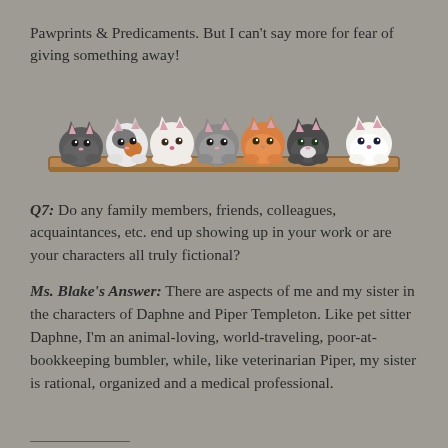Pawprints & Predicaments. But I can't say more for fear of giving something away!
[Figure (illustration): A row of eight cute cartoon cats peeking over a wooden shelf/ledge, with various fur colors including gray, calico, white, dark gray, fluffy gray, orange, gray-white, and white.]
Q7: Do any family members, friends, colleagues, acquaintances, etc. end up showing up in your work or are your characters all truly fictional?
Ms. Blake's Answer: There are aspects of me and my sister in the characters of Daphne and Piper Templeton. Like pet sitter Daphne, I'm an animal-loving, world-traveling, poor-at-bookkeeping bumbler, while, like veterinarian Piper, my sister is rational, organized and a medical professional.